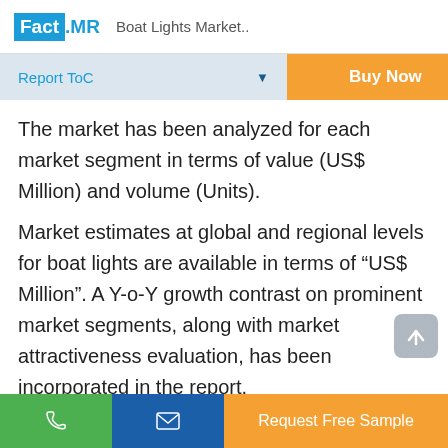Fact.MR  Boat Lights Market..
Report ToC
Buy Now
The market has been analyzed for each market segment in terms of value (US$ Million) and volume (Units).
Market estimates at global and regional levels for boat lights are available in terms of “US$ Million”. A Y-o-Y growth contrast on prominent market segments, along with market attractiveness evaluation, has been incorporated in the report. Furthermore, absolute dollar opportunity analysis of
Request Free Sample